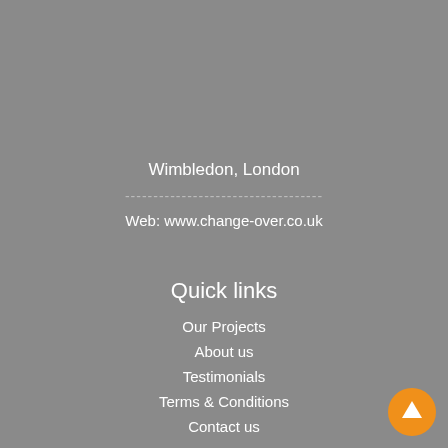Wimbledon, London
-----------------------------------
Web: www.change-over.co.uk
Quick links
Our Projects
About us
Testimonials
Terms & Conditions
Contact us
[Figure (illustration): Orange circular scroll-to-top button with white upward arrow in the bottom-right corner]